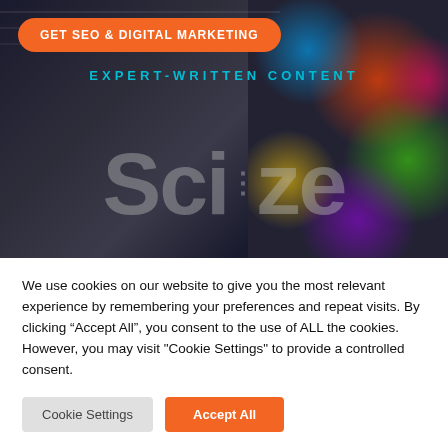[Figure (screenshot): Hero banner with dark background, colorful bokeh lights on right, large watermark logo text 'Sciize', cyan subtitle 'EXPERT-WRITTEN CONTENT', and an orange CTA button 'GET SEO & DIGITAL MARKETING']
We use cookies on our website to give you the most relevant experience by remembering your preferences and repeat visits. By clicking “Accept All”, you consent to the use of ALL the cookies. However, you may visit "Cookie Settings" to provide a controlled consent.
Cookie Settings
Accept All